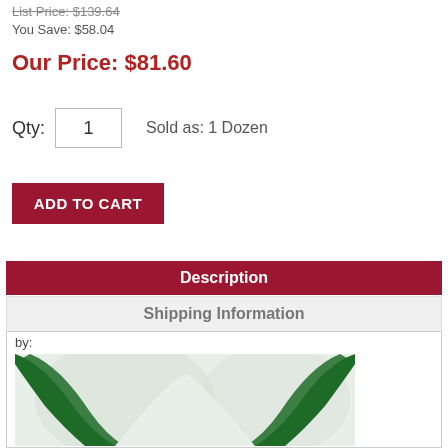List Price: $139.64
You Save: $58.04
Our Price: $81.60
Qty:  1   Sold as: 1 Dozen
ADD TO CART
Description
Shipping Information
by:
[Figure (photo): Product image showing green curved decorative borders/trim on a light background.]